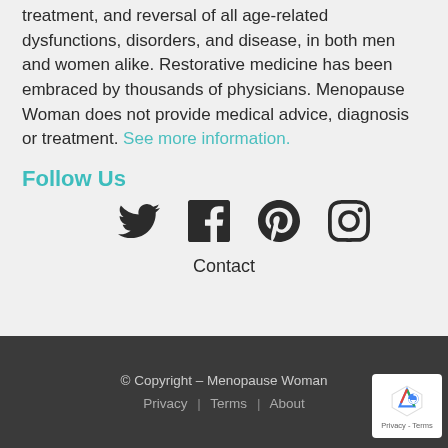treatment, and reversal of all age-related dysfunctions, disorders, and disease, in both men and women alike. Restorative medicine has been embraced by thousands of physicians. Menopause Woman does not provide medical advice, diagnosis or treatment. See more information.
Follow Us
[Figure (other): Social media icons: Twitter, Facebook, Pinterest, Instagram]
Contact
© Copyright – Menopause Woman | Privacy | Terms | About